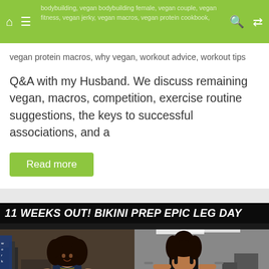bodybuilding, vegan bodybuilding female, vegan couple, vegan fitness, vegan jerky, vegan macros, vegan protein cookbook, vegan protein macros, why vegan, workout advice, workout tips
vegan protein macros, why vegan, workout advice, workout tips
Q&A with my Husband. We discuss remaining vegan, macros, competition, exercise routine suggestions, the keys to successful associations, and a
Read more
[Figure (photo): Gym photo thumbnail with bold white text overlay reading '11 WEEKS OUT! BIKINI PREP EPIC LEG DAY'. Shows two women in a gym setting — one facing the camera with curly hair in a dark t-shirt, the other viewed from behind in a black sports top working out.]